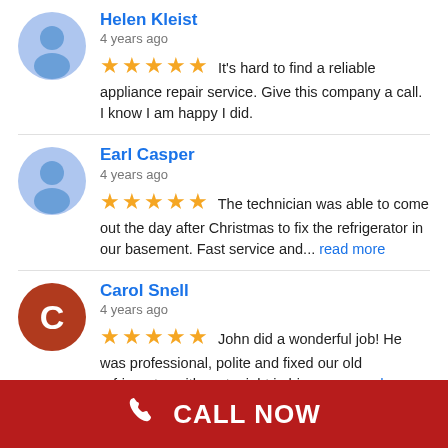Helen Kleist — 4 years ago — 5 stars — It's hard to find a reliable appliance repair service. Give this company a call. I know I am happy I did.
Earl Casper — 4 years ago — 5 stars — The technician was able to come out the day after Christmas to fix the refrigerator in our basement. Fast service and... read more
Carol Snell — 4 years ago — 5 stars — John did a wonderful job! He was professional, polite and fixed our old refrigerator with parts right in his van.... read more
See All Reviews
CALL NOW